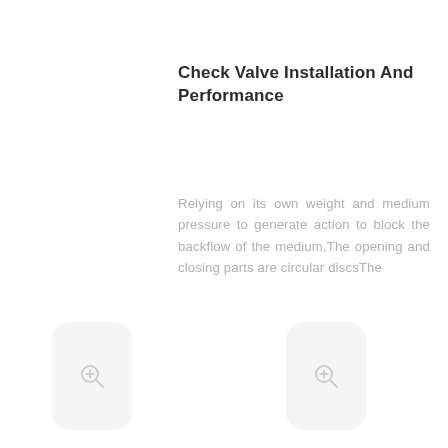Check Valve Installation And Performance
Relying on its own weight and medium pressure to generate action to block the backflow of the medium,The opening and closing parts are circular discsThe
[Figure (other): Zoom-in button icon (magnifying glass with plus) in a rounded rectangle, left side]
[Figure (other): Zoom-in button icon (magnifying glass with plus) in a rounded rectangle, right side]